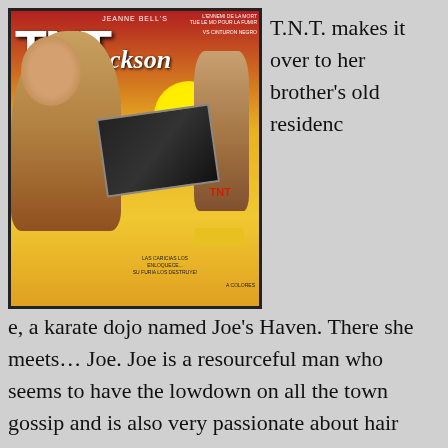[Figure (photo): Movie poster for T.N.T. Jackson (also titled vs. Cinturón Negro), showing a woman with an afro on the left side, a woman in fighting pose against a yellow sun on the right, and a small inset black-and-white photo in the middle. Bold white TNT text and cursive Jackson text at top. Yellow and red background with car at bottom.]
T.N.T. makes it over to her brother's old residence, a karate dojo named Joe's Haven. There she meets… Joe. Joe is a resourceful man who seems to have the lowdown on all the town gossip and is also very passionate about hair dressing. Joe agrees to ask around town and causes a major shitstorm when he sparks the ire of the local mob, who were already very nervous about T.N.T's presence in the first